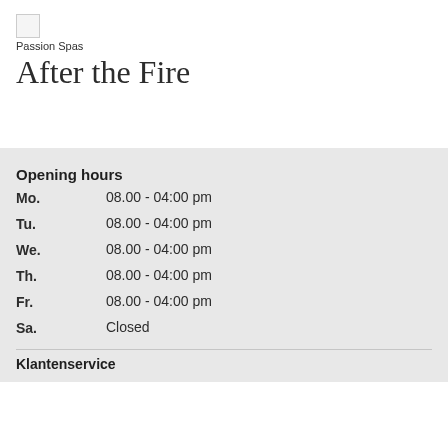[Figure (logo): Passion Spas logo image placeholder]
Passion Spas
After the Fire
Opening hours
| Mo. | 08.00 - 04:00 pm |
| Tu. | 08.00 - 04:00 pm |
| We. | 08.00 - 04:00 pm |
| Th. | 08.00 - 04:00 pm |
| Fr. | 08.00 - 04:00 pm |
| Sa. | Closed |
Klantenservice